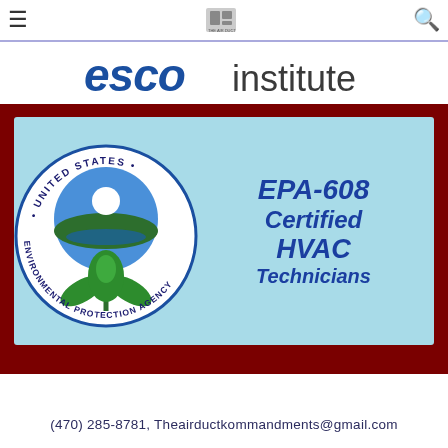[Figure (logo): Navigation bar with hamburger menu icon, small logo image, and search icon]
[Figure (logo): ESCO Institute logo banner in blue text on white background]
[Figure (illustration): EPA-608 Certified HVAC Technicians badge on light blue background featuring United States Environmental Protection Agency circular seal with green plant logo on left, and bold blue text 'EPA-608 Certified HVAC Technicians' on right. Set against dark red background.]
(470) 285-8781, Theairductkommandments@gmail.com